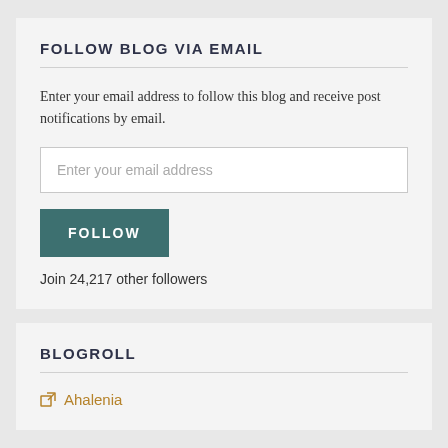FOLLOW BLOG VIA EMAIL
Enter your email address to follow this blog and receive post notifications by email.
Enter your email address
FOLLOW
Join 24,217 other followers
BLOGROLL
Ahalenia